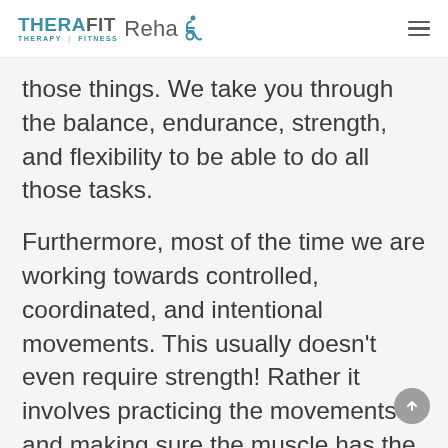THERAFIT Rehab — Therapy | Fitness
those things. We take you through the balance, endurance, strength, and flexibility to be able to do all those tasks.
Furthermore, most of the time we are working towards controlled, coordinated, and intentional movements. This usually doesn't even require strength! Rather it involves practicing the movements and making sure the muscle has the flexibility to move the way we